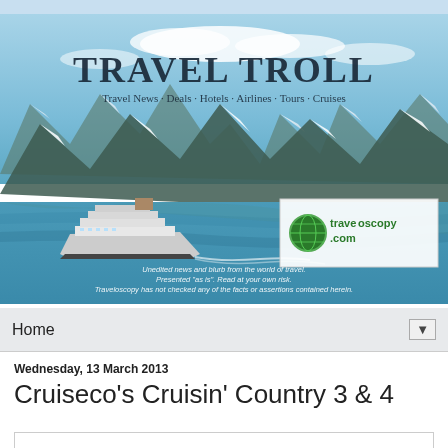[Figure (photo): Travel Troll website banner showing a cruise ship on turquoise glacial waters with snow-capped mountains. Text overlay: TRAVEL TROLL, Travel News · Deals · Hotels · Airlines · Tours · Cruises. Also shows traveloscopy.com logo and disclaimer text.]
Home ▼
Wednesday, 13 March 2013
Cruiseco's Cruisin' Country 3 & 4